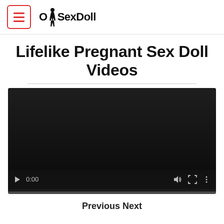OhSexDoll
Lifelike Pregnant Sex Doll Videos
[Figure (screenshot): Embedded video player showing a dark/black video screen with playback controls at the bottom: play button, time display '0:00', volume icon, fullscreen icon, and more-options icon. A thin progress bar appears at the very bottom.]